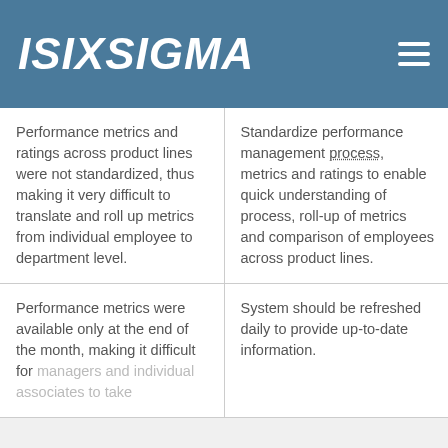ISIXSIGMA
| Performance metrics and ratings across product lines were not standardized, thus making it very difficult to translate and roll up metrics from individual employee to department level. | Standardize performance management process, metrics and ratings to enable quick understanding of process, roll-up of metrics and comparison of employees across product lines. |
| Performance metrics were available only at the end of the month, making it difficult for managers and individual associates to take | System should be refreshed daily to provide up-to-date information. |